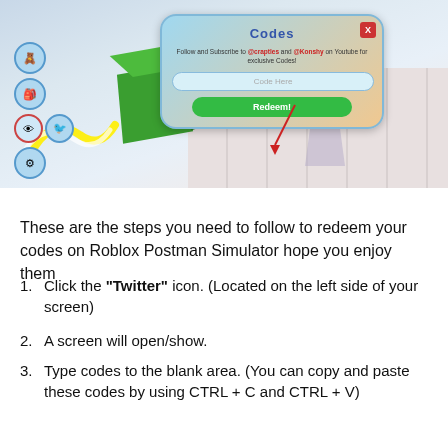[Figure (screenshot): Screenshot of a Roblox Postman Simulator game showing a Codes dialog box with a 'Code Here' input field and 'Redeem!' button. A green cube character is visible with a red heart above it, yellow swirl effects, and left-side circular icon buttons.]
These are the steps you need to follow to redeem your codes on Roblox Postman Simulator hope you enjoy them
Click the "Twitter" icon. (Located on the left side of your screen)
A screen will open/show.
Type codes to the blank area. (You can copy and paste these codes by using CTRL + C and CTRL + V)